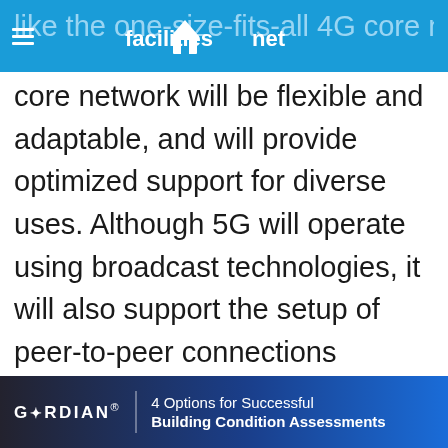facilitiesnet
like the one-size-fits-all 4G core networks, the 5G core network will be flexible and adaptable, and will provide optimized support for diverse uses. Although 5G will operate using broadcast technologies, it will also support the setup of peer-to-peer connections between subscriber devices and base-station antennas. These connections, which use beamforming and multiple-input and multiple-output technologies, focus the bandwidth and signal, and, in the process, promote efficiency. The configuration of the wireless service provider network will also change to reduce latencies on both wireless
[Figure (infographic): Advertisement banner for Gordian: '4 Options for Successful Building Condition Assessments']